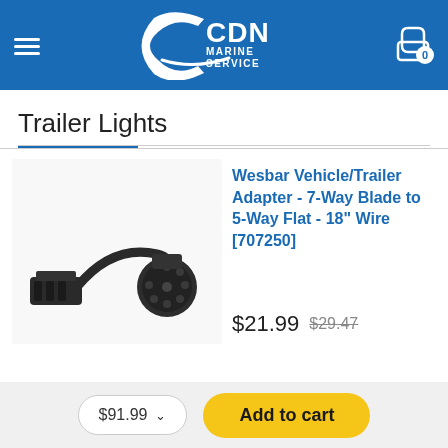[Figure (logo): CDN Marine Service logo on blue header background with hamburger menu and shopping cart with badge 0]
Trailer Lights
[Figure (photo): Wesbar Vehicle/Trailer Adapter product photo - 7-Way Blade to 5-Way Flat - 18" Wire connector with cable]
Wesbar Vehicle/Trailer Adapter - 7-Way Blade to 5-Way Flat - 18" Wire [707250]
$21.99  $29.47
$91.99 ∨   Add to cart